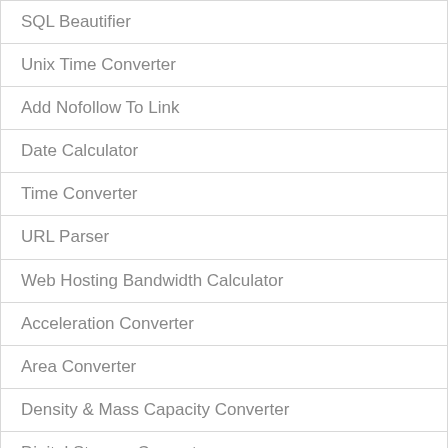SQL Beautifier
Unix Time Converter
Add Nofollow To Link
Date Calculator
Time Converter
URL Parser
Web Hosting Bandwidth Calculator
Acceleration Converter
Area Converter
Density & Mass Capacity Converter
Digital Storage Converter
Electricity Converter
Energy Converter